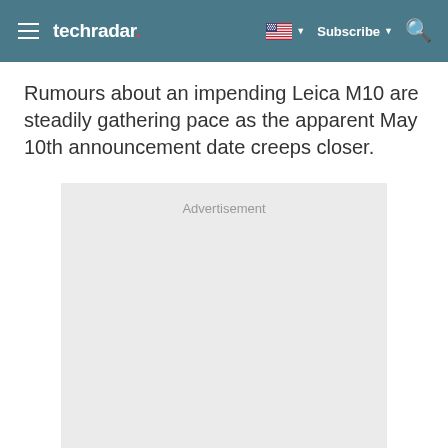techradar | Subscribe
Rumours about an impending Leica M10 are steadily gathering pace as the apparent May 10th announcement date creeps closer.
[Figure (other): Advertisement placeholder box with grey background and 'Advertisement' label]